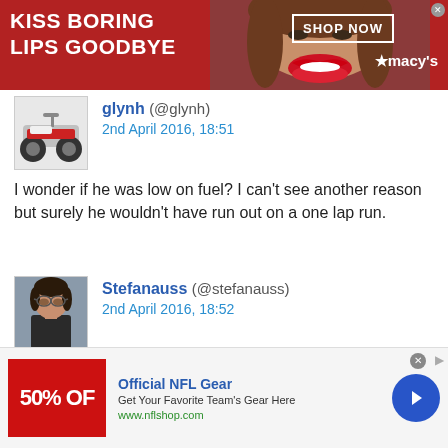[Figure (photo): Top banner advertisement: red background with white text 'KISS BORING LIPS GOODBYE', a woman's face with red lips in the center, 'SHOP NOW' button, and Macy's logo on the right.]
glynh (@glynh)
2nd April 2016, 18:51
I wonder if he was low on fuel? I can't see another reason but surely he wouldn't have run out on a one lap run.
Stefanauss (@stefanauss)
2nd April 2016, 18:52
Not on the circuit, but I sure do remember it's DSQ if doing so in the pit lane no matter the reason.
[Figure (advertisement): Bottom banner: NFL Gear ad with red logo showing '50% OF', 'Official NFL Gear', 'Get Your Favorite Team's Gear Here', 'www.nflshop.com', blue arrow button.]